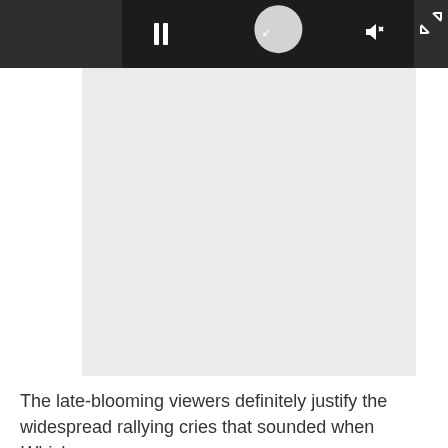[Figure (screenshot): Video player interface with dark gray toolbar showing pause button (II), expand/minimize button, and mute button. A circular loading/play indicator with yellow crescent and white arrows is visible in the center of the player area. Below is a large light gray video thumbnail placeholder area. An expand arrows icon appears in the top right corner.]
The late-blooming viewers definitely justify the widespread rallying cries that sounded when Whiskey